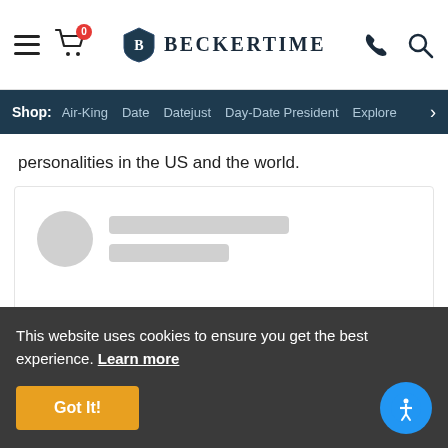BECKERTIME
Shop: Air-King  Date  Datejust  Day-Date President  Explore >
personalities in the US and the world.
[Figure (screenshot): Loading placeholder card with circular avatar placeholder and two rectangular text line placeholders]
This website uses cookies to ensure you get the best experience. Learn more
Got It!